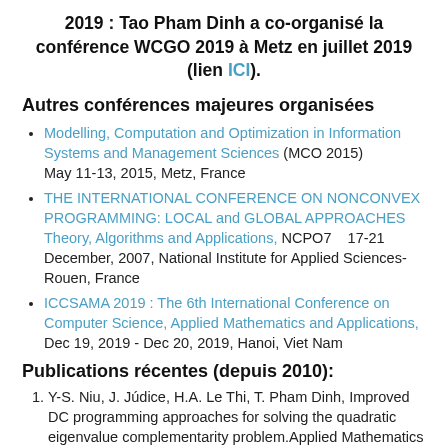2019 : Tao Pham Dinh a co-organisé la conférence WCGO 2019 à Metz en juillet 2019 (lien ICI).
Autres conférences majeures organisées
Modelling, Computation and Optimization in Information Systems and Management Sciences (MCO 2015) May 11-13, 2015, Metz, France
THE INTERNATIONAL CONFERENCE ON NONCONVEX PROGRAMMING: LOCAL and GLOBAL APPROACHES Theory, Algorithms and Applications, NCPO7    17-21 December, 2007, National Institute for Applied Sciences-Rouen, France
ICCSAMA 2019 : The 6th International Conference on Computer Science, Applied Mathematics and Applications, Dec 19, 2019 - Dec 20, 2019, Hanoi, Viet Nam
Publications récentes (depuis 2010):
Y-S. Niu, J. Júdice, H.A. Le Thi, T. Pham Dinh, Improved DC programming approaches for solving the quadratic eigenvalue complementarity problem.Applied Mathematics and Computation, Volume 353, pp. 95-113, July 2019.
H.A. Le Thi, V.T. Ho, T. Pham Dinh, A unified DC